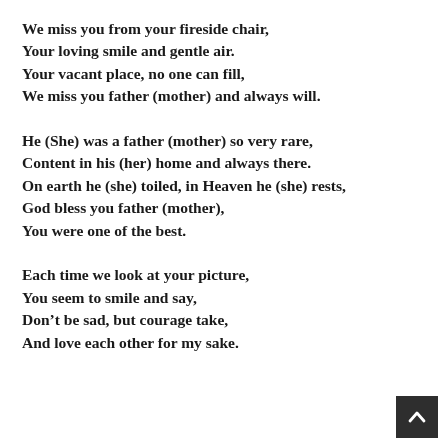We miss you from your fireside chair,
Your loving smile and gentle air.
Your vacant place, no one can fill,
We miss you father (mother) and always will.
He (She) was a father (mother) so very rare,
Content in his (her) home and always there.
On earth he (she) toiled, in Heaven he (she) rests,
God bless you father (mother),
You were one of the best.
Each time we look at your picture,
You seem to smile and say,
Don't be sad, but courage take,
And love each other for my sake.